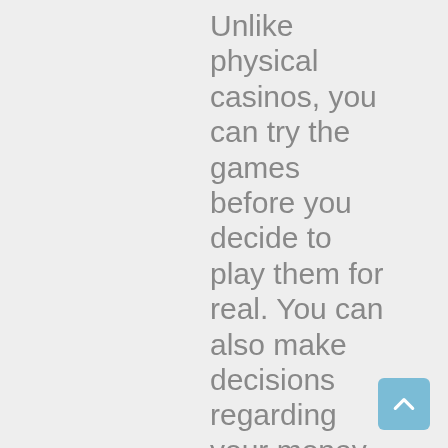Unlike physical casinos, you can try the games before you decide to play them for real. You can also make decisions regarding your money without the...